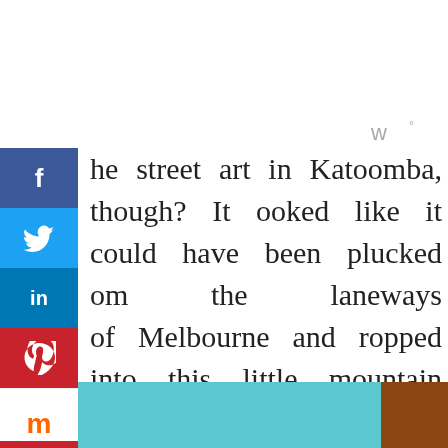[Figure (other): Social share sidebar with Facebook (blue), Twitter (light blue), LinkedIn (dark blue), Pinterest (red), Mix/Myspace (white with orange M icon and red bar), and arrow (white with blue arrow) buttons stacked vertically on the left side]
[Figure (other): Wordmark or logo icon in gray at top right, resembling stylized 'w' with degree symbol]
he street art in Katoomba, though? It ooked like it could have been plucked om the laneways of Melbourne and ropped into this little mountain village. THIS is the stuff I've been missing. I cant believe it's just a two-hour drive from Sydney!
[Figure (photo): Bottom strip of a photo showing what appears to be a teal/turquoise colored surface or building, with a brown/reddish element at the right edge]